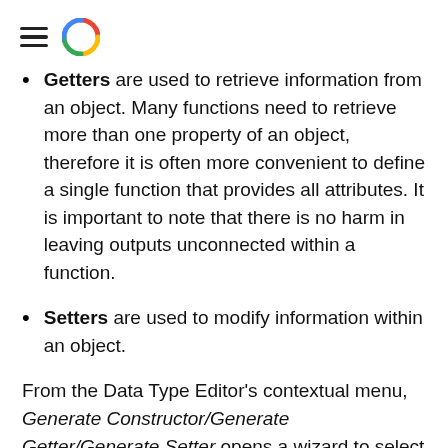[hamburger menu icon] [Google-like circular logo]
Getters are used to retrieve information from an object. Many functions need to retrieve more than one property of an object, therefore it is often more convenient to define a single function that provides all attributes. It is important to note that there is no harm in leaving outputs unconnected within a function.
Setters are used to modify information within an object.
From the Data Type Editor's contextual menu, Generate Constructor/Generate Getter/Generate Setter opens a wizard to select from the list of available Folder(s) (a new Folder can also be created) where the constructor/getter/setter are